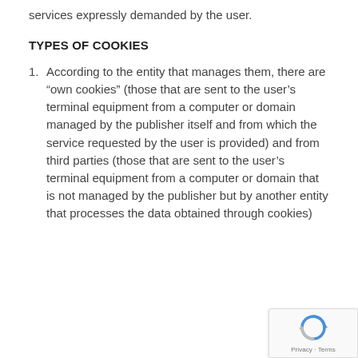services expressly demanded by the user.
TYPES OF COOKIES
1. According to the entity that manages them, there are “own cookies” (those that are sent to the user’s terminal equipment from a computer or domain managed by the publisher itself and from which the service requested by the user is provided) and from third parties (those that are sent to the user’s terminal equipment from a computer or domain that is not managed by the publisher but by another entity that processes the data obtained through cookies)